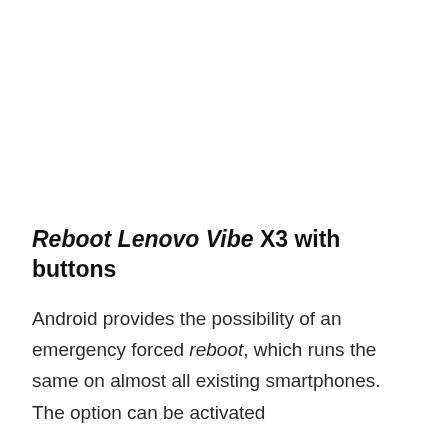Reboot Lenovo Vibe X3 with buttons
Android provides the possibility of an emergency forced reboot, which runs the same on almost all existing smartphones. The option can be activated